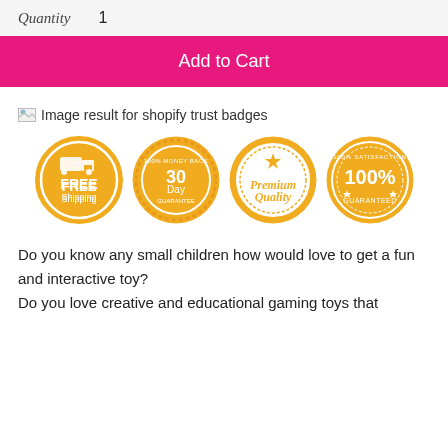| Quantity |  |
| --- | --- |
| Quantity | 1 |
Add to Cart
[Figure (other): Broken image placeholder with alt text: Image result for shopify trust badges]
[Figure (other): Four gold circular trust badges: FREE Shipping, 30 Day 100% Money Back Guarantee, Premium Quality, 100% Satisfaction Guaranteed]
Do you know any small children how would love to get a fun and interactive toy?
Do you love creative and educational gaming toys that